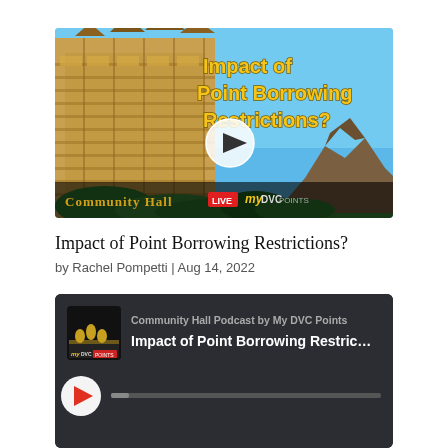[Figure (screenshot): Video thumbnail showing a resort hotel building (Aulani Disney Resort) against a blue sky, with text 'Impact of Point Borrowing Restrictions?' in yellow bold font, a white play button circle in the center, and a bottom bar with 'Community Hall LIVE my DVC Points' branding]
Impact of Point Borrowing Restrictions?
by Rachel Pompetti | Aug 14, 2022
[Figure (screenshot): Podcast player card with dark background showing Community Hall Podcast by My DVC Points artwork, show name 'Community Hall Podcast by My DVC Points', episode title 'Impact of Point Borrowing Restric...' with play button and progress bar]